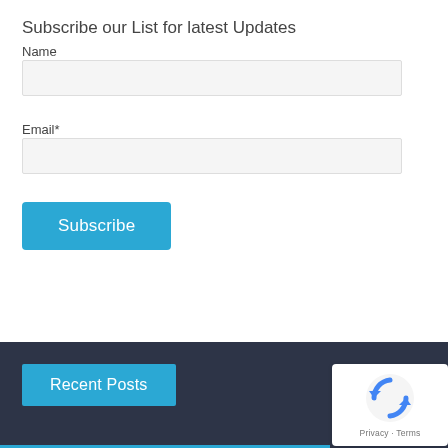Subscribe our List for latest Updates
Name
Email*
[Figure (screenshot): Subscribe button — blue rounded rectangle with white text 'Subscribe']
Recent Posts
[Figure (other): reCAPTCHA badge with logo and 'Privacy - Terms' text]